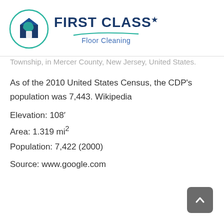[Figure (logo): First Class Floor Cleaning logo with circular icon showing a house and cleaning equipment, teal/green and blue colors, with company name and swoosh]
Township, in Mercer County, New Jersey, United States.
As of the 2010 United States Census, the CDP's population was 7,443. Wikipedia
Elevation: 108′
Area: 1.319 mi²
Population: 7,422 (2000)
Source: www.google.com